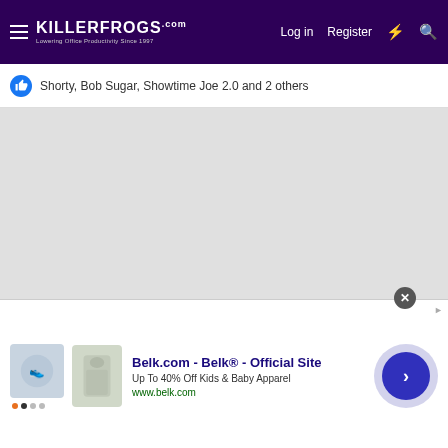KILLERFROGS.com — Lowering Office Productivity Since 1997. Log in | Register
Shorty, Bob Sugar, Showtime Joe 2.0 and 2 others
[Figure (screenshot): Gray empty content area]
[Figure (photo): Advertisement: Belk.com - Belk® - Official Site. Up To 40% Off Kids & Baby Apparel. www.belk.com]